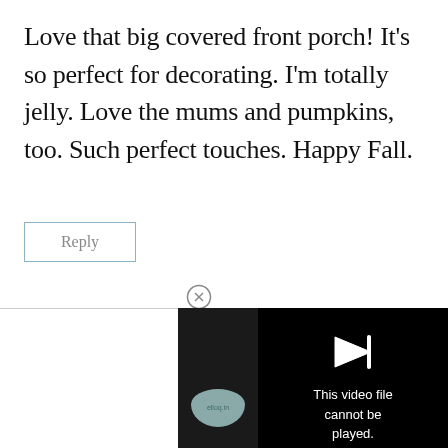Love that big covered front porch! It's so perfect for decorating. I'm totally jelly. Love the mums and pumpkins, too. Such perfect touches. Happy Fall.
Reply
[Figure (screenshot): Video player showing error message: 'This video file cannot be played. (Error Code: 2 24003)' with a play button arrow icon on black background, and a small teal avatar/logo on the left side panel.]